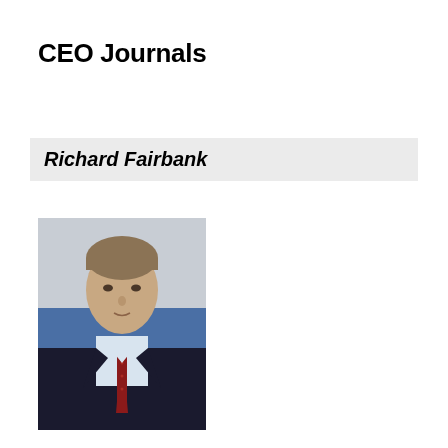CEO Journals
Richard Fairbank
[Figure (photo): Professional portrait photo of Richard Fairbank, a middle-aged man in a dark suit with a red tie, photographed against a blue background]